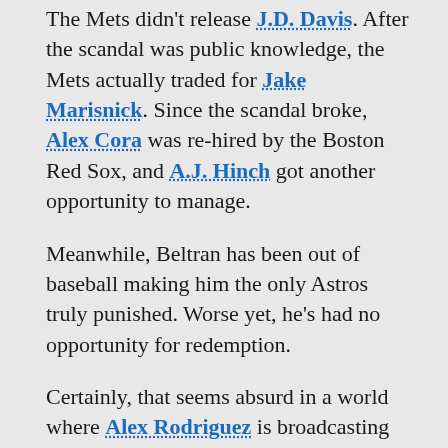The Mets didn't release J.D. Davis. After the scandal was public knowledge, the Mets actually traded for Jake Marisnick. Since the scandal broke, Alex Cora was re-hired by the Boston Red Sox, and A.J. Hinch got another opportunity to manage.
Meanwhile, Beltran has been out of baseball making him the only Astros truly punished. Worse yet, he's had no opportunity for redemption.
Certainly, that seems absurd in a world where Alex Rodriguez is broadcasting Sunday Night Baseball. He's also part of the Fox Studio show which once included Pete Rose.
There should be a path back for Beltran. With Luis Rojas being fired, many are pushing the narrative the Mets need to right the wrong and bring back Beltran as manager.